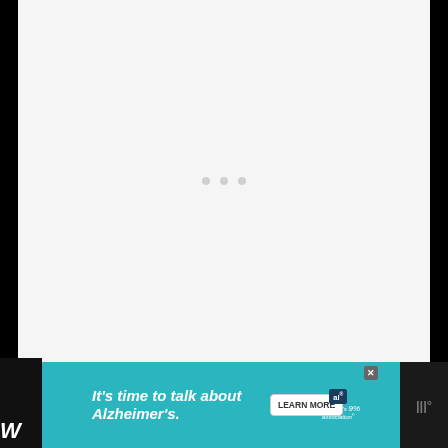[Figure (other): Large light gray content area with three faint dots/loading indicators centered in the middle]
[Figure (other): Advertisement banner for Alzheimer's Association: 'It's time to talk about Alzheimer's.' with a LEARN MORE button and the Alzheimer's Association logo with a close/X button]